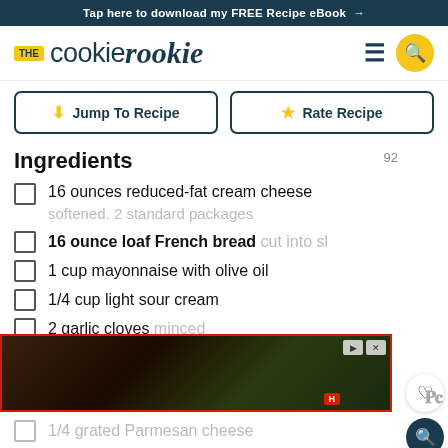Tap here to download my FREE Recipe eBook →
[Figure (logo): The Cookie Rookie logo with yellow THE badge and script/serif combined wordmark, hamburger menu icon, and yellow search button]
Jump To Recipe
Rate Recipe
Ingredients
16 ounces reduced-fat cream cheese softened. 2 standard packages
16 ounce loaf French bread cut into sl
1 cup mayonnaise with olive oil
1/4 cup light sour cream
2 garlic cloves minced
14 ounces marinated artichoke hearts 1
[Figure (screenshot): Advertisement banner with dark forest/nature background, red border, playback controls, H badge, and Moat watermark]
1/4 grated Parmesan cheese